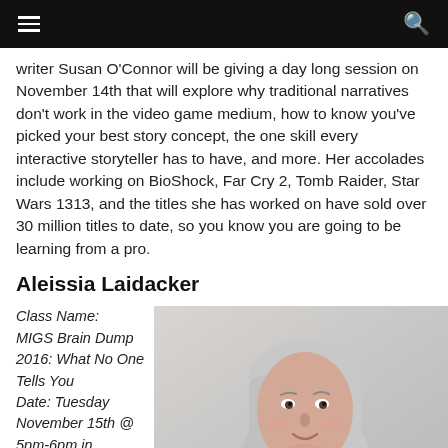≡  🔍
writer Susan O'Connor will be giving a day long session on November 14th that will explore why traditional narratives don't work in the video game medium, how to know you've picked your best story concept, the one skill every interactive storyteller has to have, and more. Her accolades include working on BioShock, Far Cry 2, Tomb Raider, Star Wars 1313, and the titles she has worked on have sold over 30 million titles to date, so you know you are going to be learning from a pro.
Aleissia Laidacker
Class Name: MIGS Brain Dump 2016: What No One Tells You
Date: Tuesday November 15th @ 5pm-6pm in
[Figure (photo): Photo of Aleissia Laidacker, a woman with long light gray/silver hair, smiling, wearing a dark patterned top, against a light gray background.]